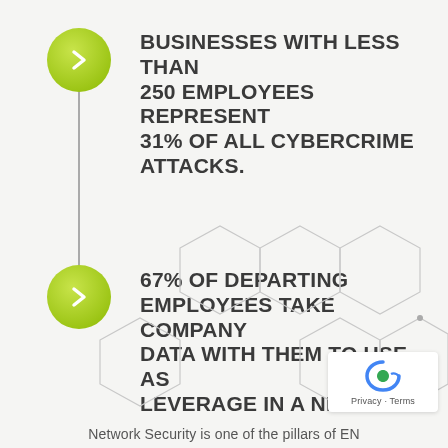BUSINESSES WITH LESS THAN 250 EMPLOYEES REPRESENT 31% OF ALL CYBERCRIME ATTACKS.
67% OF DEPARTING EMPLOYEES TAKE COMPANY DATA WITH THEM TO USE AS LEVERAGE IN A NEW JOB.
[Figure (infographic): Decorative hexagon grid pattern in light gray at bottom of page]
Network Security is one of the pillars of EN